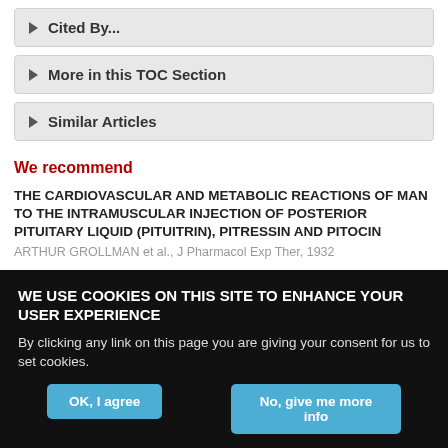Cited By...
More in this TOC Section
Similar Articles
We recommend
THE CARDIOVASCULAR AND METABOLIC REACTIONS OF MAN TO THE INTRAMUSCULAR INJECTION OF POSTERIOR PITUITARY LIQUID (PITUITRIN), PITRESSIN AND PITOCIN
ARTHUR GROLLMAN et al., J Pharmacol Exp Ther, 1932
REGULATION OF RESPIRATION THE ANTAGONISM BETWEEN
WE USE COOKIES ON THIS SITE TO ENHANCE YOUR USER EXPERIENCE
By clicking any link on this page you are giving your consent for us to set cookies.
OK, I agree
No, give me more info